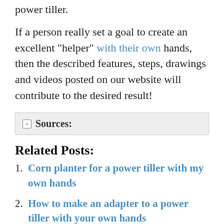power tiller.
If a person really set a goal to create an excellent “helper” with their own hands, then the described features, steps, drawings and videos posted on our website will contribute to the desired result!
⊞ Sources:
Related Posts:
1. Corn planter for a power tiller with my own hands
2. How to make an adapter to a power tiller with your own hands
3. How to make a cart for a power tiller with your own hands
4. (truncated)